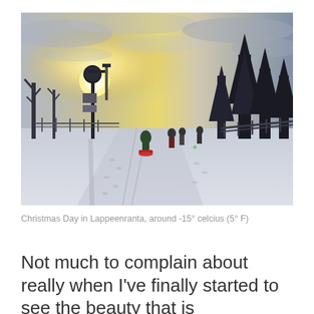[Figure (photo): Outdoor winter scene on Christmas Day in Lappeenranta, Finland. Snow-covered ground with footprints and sled tracks. People sledding in the background. Street lamp silhouetted against a bright sun breaking through hazy clouds. Dark pine tree silhouettes on the right. Temperature around -15 degrees Celsius (5 degrees Fahrenheit).]
Christmas Day in Lappeenranta, around -15° celcius (5° F)
Not much to complain about really when I've finally started to see the beauty that is